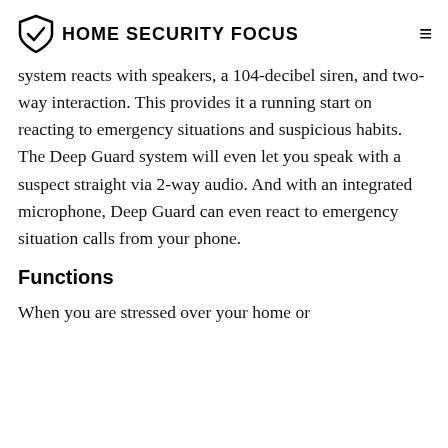HOME SECURITY FOCUS
system reacts with speakers, a 104-decibel siren, and two-way interaction. This provides it a running start on reacting to emergency situations and suspicious habits. The Deep Guard system will even let you speak with a suspect straight via 2-way audio. And with an integrated microphone, Deep Guard can even react to emergency situation calls from your phone.
Functions
When you are stressed over your home or